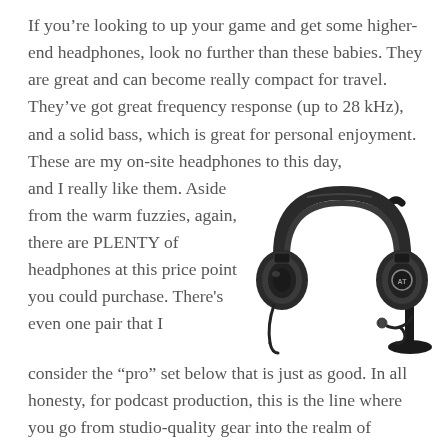If you're looking to up your game and get some higher-end headphones, look no further than these babies. They are great and can become really compact for travel. They've got great frequency response (up to 28 kHz), and a solid bass, which is great for personal enjoyment. These are my on-site headphones to this day, and I really like them. Aside from the warm fuzzies, again, there are PLENTY of headphones at this price point you could purchase. There's even one pair that I consider the “pro” set below that is just as good. In all honesty, for podcast production, this is the line where you go from studio-quality gear into the realm of Audiophile. As noted in the buying guide, as long as you avoid heavily colored (think
[Figure (photo): Black over-ear headphones (Audio-Technica style) shown with a headphone stand and a coiled cable/adapter]